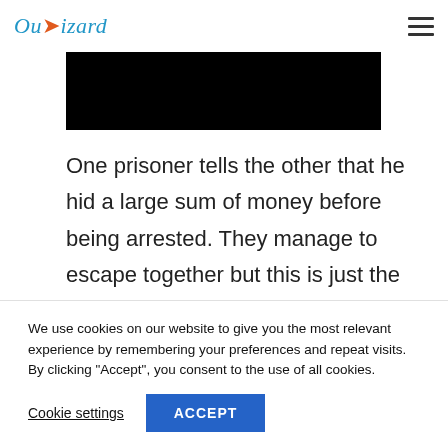Ouizard
[Figure (photo): Black rectangular image placeholder at the top of the article content area]
One prisoner tells the other that he hid a large sum of money before being arrested. They manage to escape together but this is just the beginning of many adventures. The director of the film
We use cookies on our website to give you the most relevant experience by remembering your preferences and repeat visits. By clicking “Accept”, you consent to the use of all cookies.
Cookie settings   ACCEPT